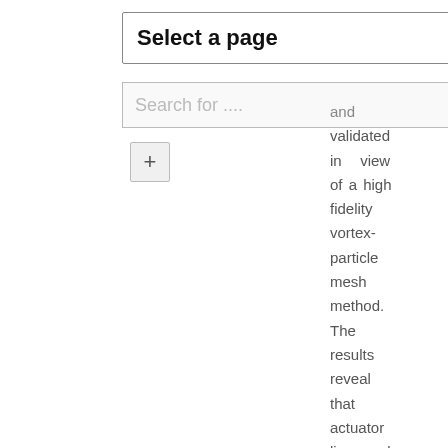[Figure (screenshot): UI element: dropdown selector labeled 'Select a page' with a chevron arrow on the right]
[Figure (screenshot): UI element: search input field with placeholder 'Search for ...' and a search button with magnifying glass icon]
[Figure (screenshot): UI element: plus (+) button]
and validated in view of a high fidelity vortex-particle mesh method. The results reveal that actuator line and cylinder models provide